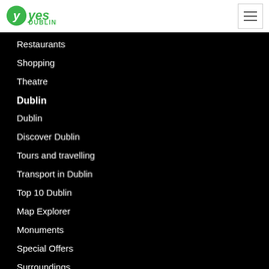Yes Dublin
Restaurants
Shopping
Theatre
Dublin
Dublin
Discover Dublin
Tours and travelling
Transport in Dublin
Top 10 Dublin
Map Explorer
Monuments
Special Offers
Surroundings